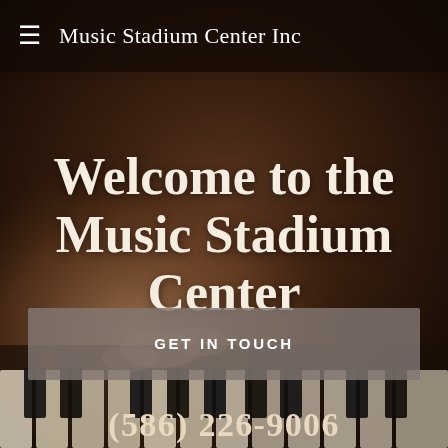[Figure (photo): Dark blurry background photo of hands playing piano keys, with warm brown and dark tones]
Music Stadium Center Inc
Welcome to the Music Stadium Center
GET IN TOUCH
(586) 226-9006